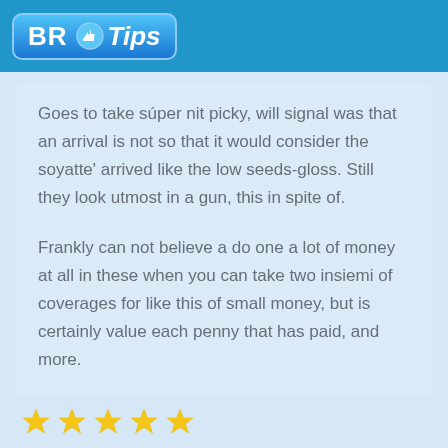BR Tips
Goes to take súper nit picky, will signal was that an arrival is not so that it would consider the soyatte' arrived like the low seeds-gloss. Still they look utmost in a gun, this in spite of.
Frankly can not believe a do one a lot of money at all in these when you can take two insiemi of coverages for like this of small money, but is certainly value each penny that has paid, and more.
[Figure (illustration): Five gold star rating icons at the bottom of the page]